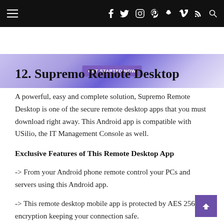≡  f  Twitter  Instagram  Pinterest  Snapchat  Vimeo  RSS  Search
[Figure (screenshot): Banner advertisement with purple gradient background and a 'GET STARTED NOW' button in the center]
12. Supremo Remote Desktop
A powerful, easy and complete solution, Supremo Remote Desktop is one of the secure remote desktop apps that you must download right away. This Android app is compatible with USilio, the IT Management Console as well.
Exclusive Features of This Remote Desktop App
-> From your Android phone remote control your PCs and servers using this Android app.
-> This remote desktop mobile app is protected by AES 256-bit encryption keeping your connection safe.
-> Zero...